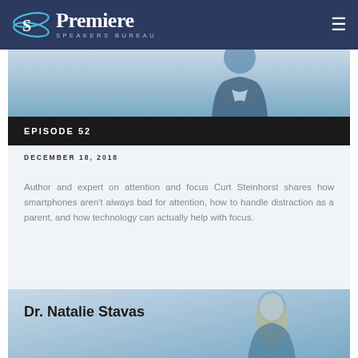Premiere Speakers Bureau
[Figure (photo): Header photo strip showing partial silhouette of a person in a dark jacket against a light blue background]
EPISODE 52
DECEMBER 18, 2018
Author and expert on attention and focus Curt Steinhorst shares how smartphones aren't always bad for attention, how to handle distraction as a parent, and how technology can actually help with focus.
[Figure (photo): Photo card showing Dr. Natalie Stavas with a woman with blonde hair against a blue-toned background]